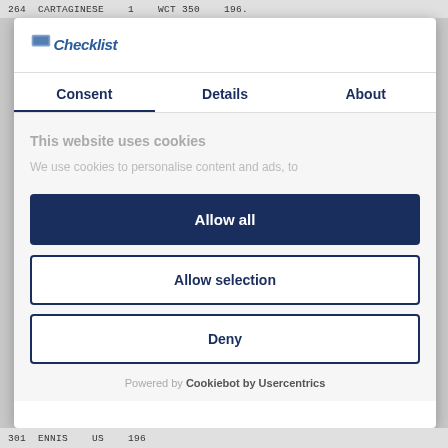264  CARTAGINESE    1    WCT 350    196.
[Figure (logo): Website logo — stylized script text logo in blue]
Consent    Details    About
This website uses cookies
We use cookies to personalise content and ads, to
Allow all
Allow selection
Deny
Powered by Cookiebot by Usercentrics
301  ENNIS    US    196